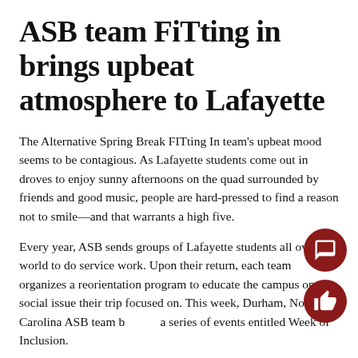ASB team FiTting in brings upbeat atmosphere to Lafayette
The Alternative Spring Break FITting In team's upbeat mood seems to be contagious. As Lafayette students come out in droves to enjoy sunny afternoons on the quad surrounded by friends and good music, people are hard-pressed to find a reason not to smile—and that warrants a high five.
Every year, ASB sends groups of Lafayette students all over the world to do service work. Upon their return, each team organizes a reorientation program to educate the campus on the social issue their trip focused on. This week, Durham, North Carolina ASB team brought a series of events entitled Week of Inclusion.
Throughout the week, the group has been running events in and around Farinon ranging from free high fives and random acts of